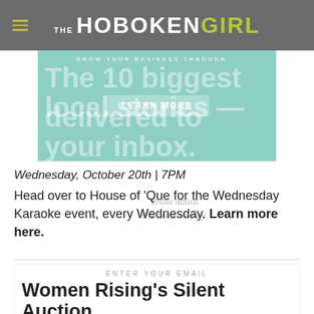THE HOBOKEN GIRL
[Figure (infographic): Advertisement banner with teal background showing 'The 10 biggest local stories — delivered to your inbox.' with a LEARN MORE button and GROW YOUR BUSINESS THROUGH text at top]
Wednesday, October 20th | 7PM
Head over to House of 'Que for the Wednesday Karaoke event, every Wednesday. Learn more here.
ENTER YOUR EMAIL
Women Rising's Silent Auction
STAY IN THE KNOW
Thursday, October 21st–31st
Women Rising's Silent Auction will be